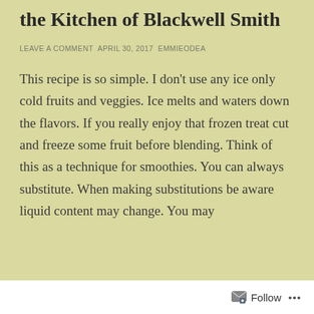the Kitchen of Blackwell Smith
LEAVE A COMMENT APRIL 30, 2017 EMMIEODEA
This recipe is so simple. I don't use any ice only cold fruits and veggies. Ice melts and waters down the flavors. If you really enjoy that frozen treat cut and freeze some fruit before blending. Think of this as a technique for smoothies. You can always substitute. When making substitutions be aware liquid content may change. You may
Follow ...